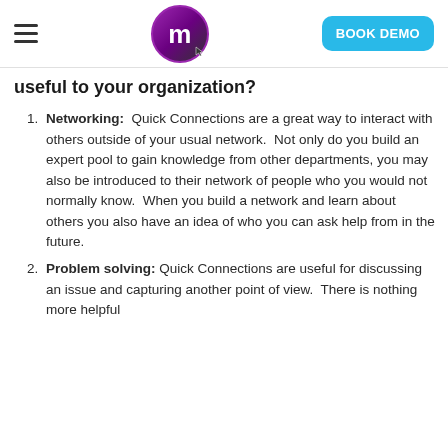BOOK DEMO
useful to your organization?
Networking: Quick Connections are a great way to interact with others outside of your usual network. Not only do you build an expert pool to gain knowledge from other departments, you may also be introduced to their network of people who you would not normally know. When you build a network and learn about others you also have an idea of who you can ask help from in the future.
Problem solving: Quick Connections are useful for discussing an issue and capturing another point of view. There is nothing more helpful